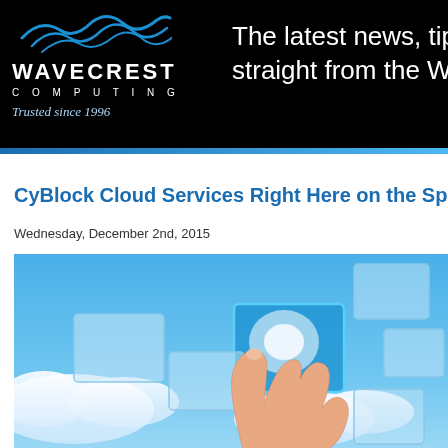WAVECREST COMPUTING — Trusted since 1996 — The latest news, tips straight from the Wa...
CyBlock Cloud Services Right Here on the Space Coa...
Wednesday, December 2nd, 2015
[Figure (photo): A hand pointing upward touching a glowing translucent blue square interface panel floating in a blue sky with clouds, surrounded by other semi-transparent floating square UI panels]